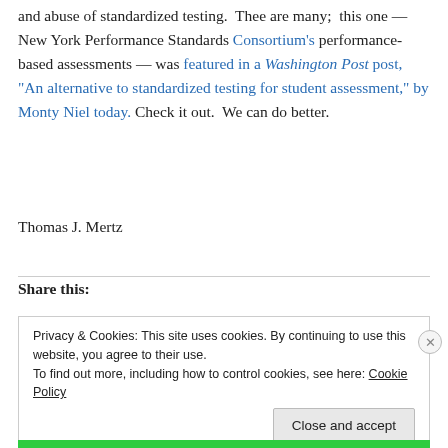and abuse of standardized testing.  Thee are many;  this one — New York Performance Standards Consortium's performance-based assessments — was featured in a Washington Post post, “An alternative to standardized testing for student assessment,” by Monty Niel today. Check it out.  We can do better.
Thomas J. Mertz
Share this:
Privacy & Cookies: This site uses cookies. By continuing to use this website, you agree to their use. To find out more, including how to control cookies, see here: Cookie Policy
Close and accept